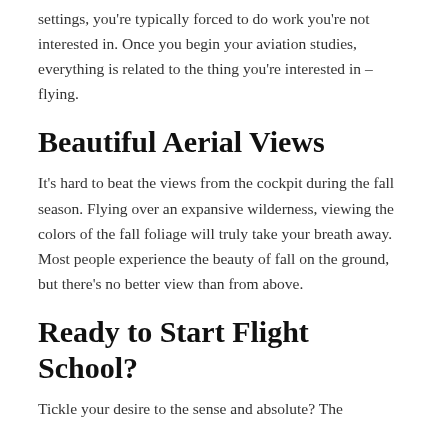settings, you're typically forced to do work you're not interested in. Once you begin your aviation studies, everything is related to the thing you're interested in – flying.
Beautiful Aerial Views
It's hard to beat the views from the cockpit during the fall season. Flying over an expansive wilderness, viewing the colors of the fall foliage will truly take your breath away. Most people experience the beauty of fall on the ground, but there's no better view than from above.
Ready to Start Flight School?
Tickle your desire to the sense and absolute? The